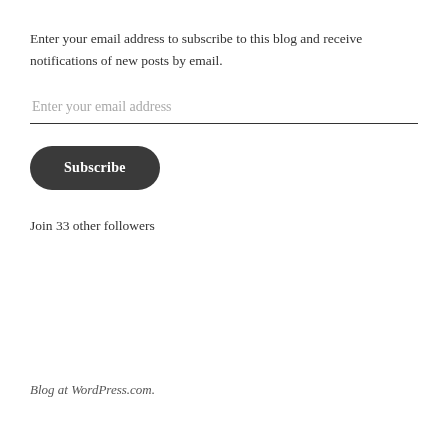Enter your email address to subscribe to this blog and receive notifications of new posts by email.
Enter your email address
Subscribe
Join 33 other followers
Blog at WordPress.com.